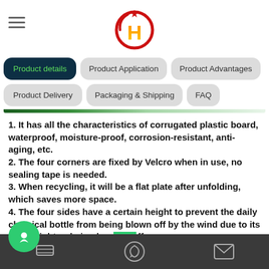Company logo header with hamburger menu
Product details | Product Application | Product Advantages | Product Delivery | Packaging & Shipping | FAQ
1. It has all the characteristics of corrugated plastic board, waterproof, moisture-proof, corrosion-resistant, anti-aging, etc.
2. The four corners are fixed by Velcro when in use, no sealing tape is needed.
3. When recycling, it will be a flat plate after unfolding, which saves more space.
4. The four sides have a certain height to prevent the daily chemical bottle from being blown off by the wind due to its lightweight or being knocked off.
5. Compared with cartons, hollow pallets can be recycled, saving costs